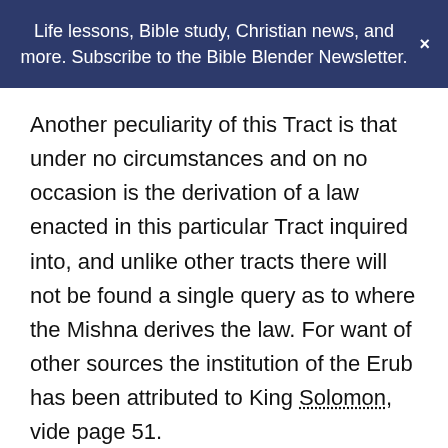Life lessons, Bible study, Christian news, and more. Subscribe to the Bible Blender Newsletter.
Another peculiarity of this Tract is that under no circumstances and on no occasion is the derivation of a law enacted in this particular Tract inquired into, and unlike other tracts there will not be found a single query as to where the Mishna derives the law. For want of other sources the institution of the Erub has been attributed to King Solomon, vide page 51.
The main subjects of discussion in the following pages will be how this Erub shall